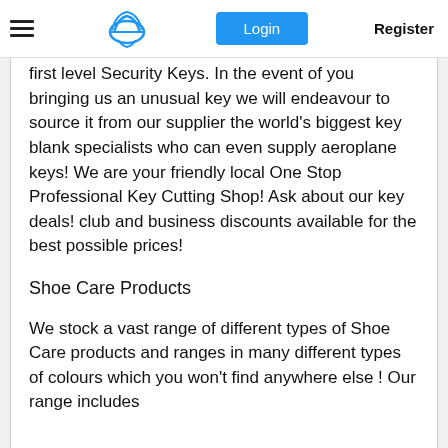Login  Register
first level Security Keys. In the event of you bringing us an unusual key we will endeavour to source it from our supplier the world's biggest key blank specialists who can even supply aeroplane keys! We are your friendly local One Stop Professional Key Cutting Shop! Ask about our key deals! club and business discounts available for the best possible prices!
Shoe Care Products
We stock a vast range of different types of Shoe Care products and ranges in many different types of colours which you won't find anywhere else ! Our range includes